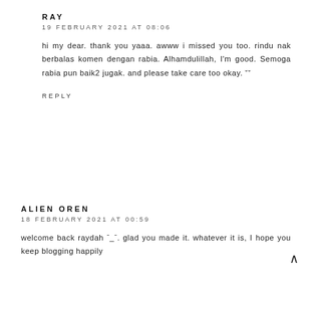RAY
19 FEBRUARY 2021 AT 08:06
hi my dear. thank you yaaa. awww i missed you too. rindu nak berbalas komen dengan rabia. Alhamdulillah, I'm good. Semoga rabia pun baik2 jugak. and please take care too okay. ˘˘
REPLY
ALIEN OREN
18 FEBRUARY 2021 AT 00:59
welcome back raydah ˉ_ˉ. glad you made it. whatever it is, I hope you keep blogging happily